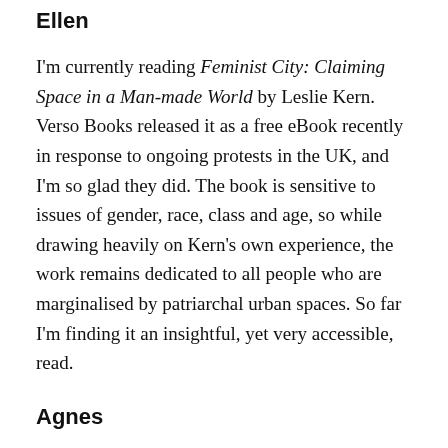Ellen
I'm currently reading Feminist City: Claiming Space in a Man-made World by Leslie Kern. Verso Books released it as a free eBook recently in response to ongoing protests in the UK, and I'm so glad they did. The book is sensitive to issues of gender, race, class and age, so while drawing heavily on Kern's own experience, the work remains dedicated to all people who are marginalised by patriarchal urban spaces. So far I'm finding it an insightful, yet very accessible, read.
Agnes
One author I always find myself returning to and rereading is Tove Jansson. One of my latest rereads is Fair Play which is a collection of stories about two women, Mari and Jonna, their love, their work, and